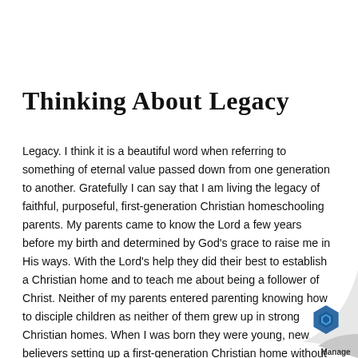Thinking About Legacy
Legacy.  I think it is a beautiful word when referring to something of eternal value passed down from one generation to another.  Gratefully I can say that I am living the legacy of faithful, purposeful, first-generation Christian homeschooling parents.  My parents came to know the Lord a few years before my birth and determined by God's grace to raise me in His ways.  With the Lord's help they did their best to establish a Christian home and to teach me about being a follower of Christ.  Neither of my parents entered parenting knowing how to disciple children as neither of them grew up in strong Christian homes.  When I was born they were young, new believers setting up a first-generation Christian home without having an example of how to do so.  The Lord was their faithful guide and by His grace He led them.  I reaped the blessing of their e…